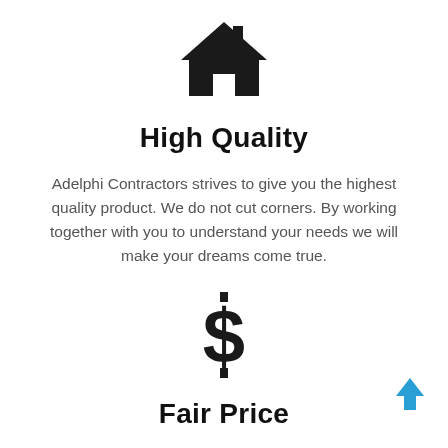[Figure (illustration): Black house/home icon]
High Quality
Adelphi Contractors strives to give you the highest quality product. We do not cut corners. By working together with you to understand your needs we will make your dreams come true.
[Figure (illustration): Black dollar sign ($) icon]
[Figure (illustration): Blue upward arrow icon]
Fair Price